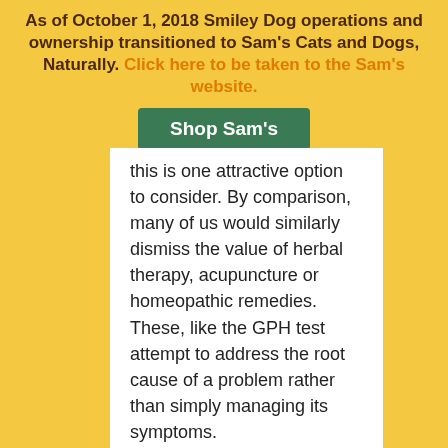As of October 1, 2018 Smiley Dog operations and ownership transitioned to Sam's Cats and Dogs, Naturally. Click here to be taken to the Sam's website.
[Figure (other): Green button labeled 'Shop Sam's']
this is one attractive option to consider. By comparison, many of us would similarly dismiss the value of herbal therapy, acupuncture or homeopathic remedies. These, like the GPH test attempt to address the root cause of a problem rather than simply managing its symptoms.
Others disagree and prefer to first reach for antibiotics or other pharmaceuticals to manage symptoms. There are competing philosophies at play, and once you've considered each it will be easier to make a decision.